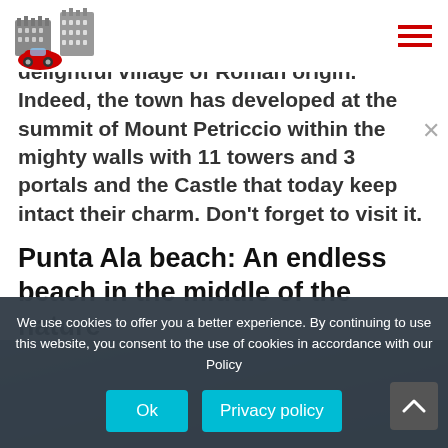[Logo: car travel Italy site] [Hamburger menu icon]
delightful village of Roman origin. Indeed, the town has developed at the summit of Mount Petriccio within the mighty walls with 11 towers and 3 portals and the Castle that today keep intact their charm. Don't forget to visit it.
Punta Ala beach: An endless beach in the middle of the nature
We use cookies to offer you a better experience. By continuing to use this website, you consent to the use of cookies in accordance with our Policy
Ok  Privacy policy